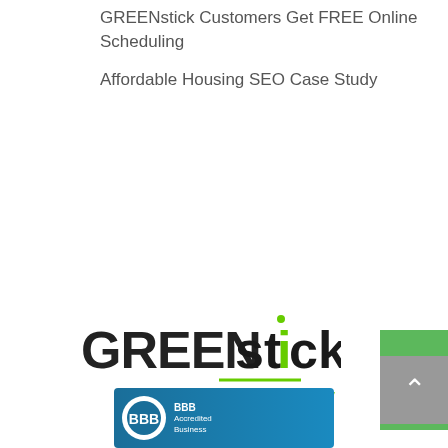GREENstick Customers Get FREE Online Scheduling
Affordable Housing SEO Case Study
[Figure (logo): GREENstick Your Brand! company logo. 'GREEN' in large dark/black capital letters, 'stick' in bold black lowercase with a green 'i', and 'Your Brand!' in green cursive script below with a green underline accent.]
[Figure (logo): Better Business Bureau (BBB) logo badge on a blue background, partially visible at the bottom of the page.]